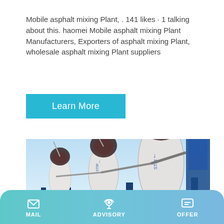Mobile asphalt mixing Plant, . 141 likes · 1 talking about this. haomei Mobile asphalt mixing Plant Manufacturers, Exporters of asphalt mixing Plant, wholesale asphalt mixing Plant suppliers
Learn More
[Figure (photo): Several white mobile asphalt mixing plant drum units with blue arrow markings, mounted on blue steel frames on a flatbed truck, photographed outdoors under a blue sky.]
MAIL   ADVISORY   OFFER